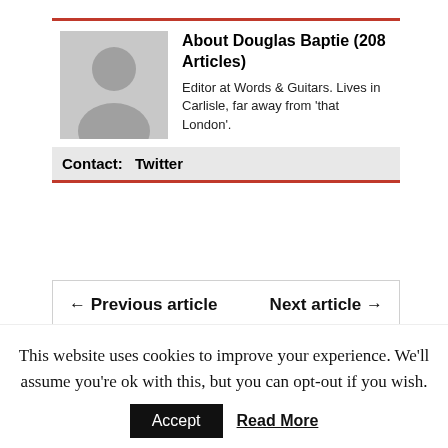About Douglas Baptie (208 Articles)
Editor at Words & Guitars. Lives in Carlisle, far away from 'that London'.
Contact:  Twitter
← Previous article    Next article →
Stay connected
This website uses cookies to improve your experience. We'll assume you're ok with this, but you can opt-out if you wish.
Accept   Read More